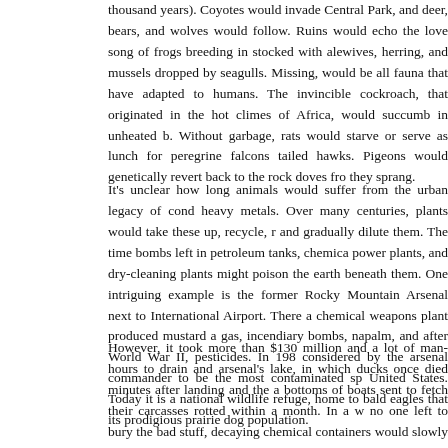thousand years). Coyotes would invade Central Park, and deer, bears, and wolves would follow. Ruins would echo the love song of frogs breeding in stocked with alewives, herring, and mussels dropped by seagulls. Missing, would be all fauna that have adapted to humans. The invincible cockroach, that originated in the hot climes of Africa, would succumb in unheated b. Without garbage, rats would starve or serve as lunch for peregrine falcons tailed hawks. Pigeons would genetically revert back to the rock doves from they sprang.
It's unclear how long animals would suffer from the urban legacy of cond heavy metals. Over many centuries, plants would take these up, recycle, r and gradually dilute them. The time bombs left in petroleum tanks, chemica power plants, and dry-cleaning plants might poison the earth beneath them. One intriguing example is the former Rocky Mountain Arsenal next to International Airport. There a chemical weapons plant produced mustard a gas, incendiary bombs, napalm, and after World War II, pesticides. In 198 considered by the arsenal commander to be the most contaminated sp United States. Today it is a national wildlife refuge, home to bald eagles that its prodigious prairie dog population.
However, it took more than $130 million and a lot of man-hours to drain and arsenal's lake, in which ducks once died minutes after landing and the a bottoms of boats sent to fetch their carcasses rotted within a month. In a w no one left to bury the bad stuff, decaying chemical containers would slowly their lethal contents. Places like the Indian Point nuclear power plant, 35 mi of Times Square, would dump radioactivity into the Hudson long after the lig out.